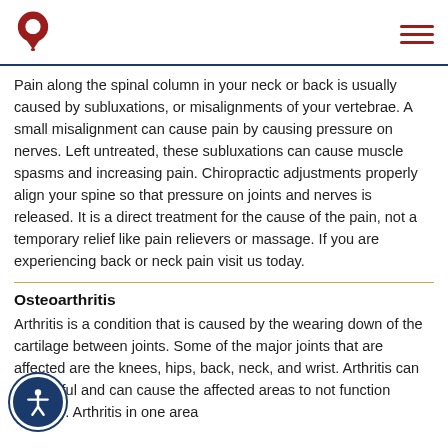Pain along the spinal column in your neck or back is usually caused by subluxations, or misalignments of your vertebrae. A small misalignment can cause pain by causing pressure on nerves. Left untreated, these subluxations can cause muscle spasms and increasing pain. Chiropractic adjustments properly align your spine so that pressure on joints and nerves is released. It is a direct treatment for the cause of the pain, not a temporary relief like pain relievers or massage. If you are experiencing back or neck pain visit us today.
Osteoarthritis
Arthritis is a condition that is caused by the wearing down of the cartilage between joints. Some of the major joints that are affected are the knees, hips, back, neck, and wrist. Arthritis can be painful and can cause the affected areas to not function properly. Arthritis in one area